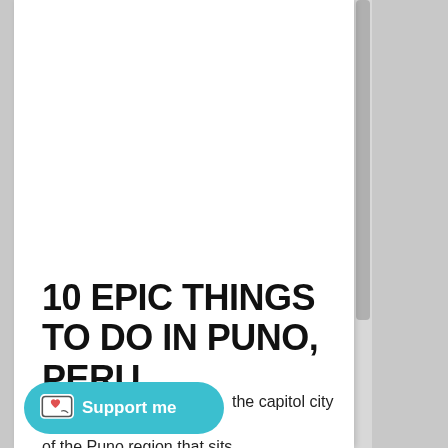10 EPIC THINGS TO DO IN PUNO, PERU
Jul 9, 2022
the capitol city of the Puno region that sits